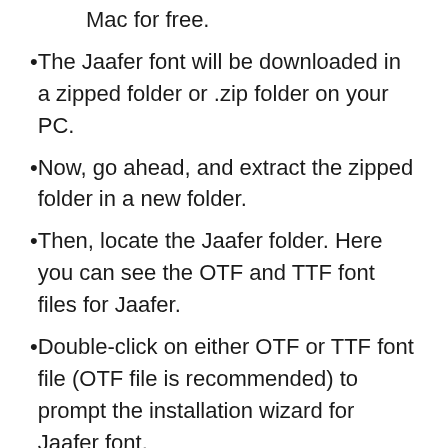Mac for free.
The Jaafer font will be downloaded in a zipped folder or .zip folder on your PC.
Now, go ahead, and extract the zipped folder in a new folder.
Then, locate the Jaafer folder. Here you can see the OTF and TTF font files for Jaafer.
Double-click on either OTF or TTF font file (OTF file is recommended) to prompt the installation wizard for Jaafer font.
A window will open on the screen. Click the “Install” button.
The Jaafer font will start installing on your Mac. This may take some time, so